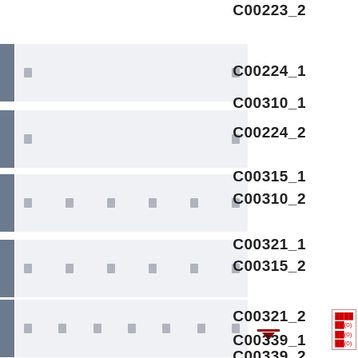C00223_2
C00224_1
C00224_2
C00310_1
C00310_2
C00315_1
C00315_2
C00321_1
C00321_2
C00339_1
C00339_2